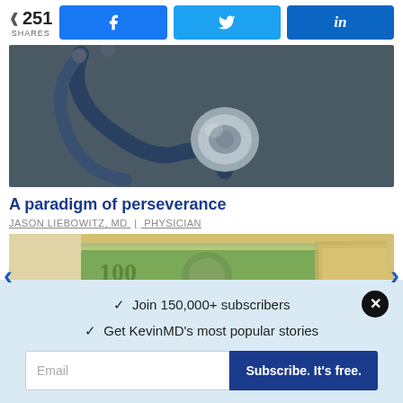251 SHARES | Facebook | Twitter | LinkedIn
[Figure (photo): Close-up photo of a stethoscope on a dark background]
A paradigm of perseverance
JASON LIEBOWITZ, MD | PHYSICIAN
[Figure (photo): Photo of stacked US dollar bills ($100 bills)]
✓  Join 150,000+ subscribers
✓  Get KevinMD's most popular stories
Email | Subscribe. It's free.